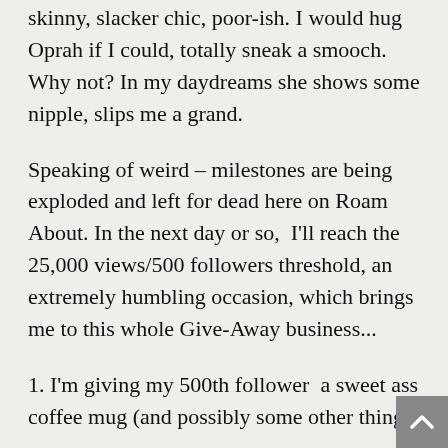skinny, slacker chic, poor-ish. I would hug Oprah if I could, totally sneak a smooch. Why not? In my daydreams she shows some nipple, slips me a grand.
Speaking of weird – milestones are being exploded and left for dead here on Roam About. In the next day or so, I'll reach the 25,000 views/500 followers threshold, an extremely humbling occasion, which brings me to this whole Give-Away business...
1. I'm giving my 500th follower a sweet ass coffee mug (and possibly some other things –